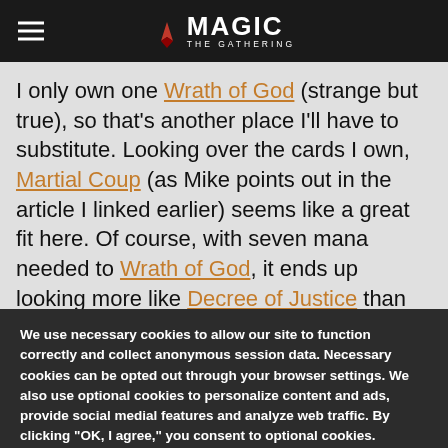Magic: The Gathering header with hamburger menu and logo
I only own one Wrath of God (strange but true), so that's another place I'll have to substitute. Looking over the cards I own, Martial Coup (as Mike points out in the article I linked earlier) seems like a great fit here. Of course, with seven mana needed to Wrath of God, it ends up looking more like Decree of Justice than Wrath
We use necessary cookies to allow our site to function correctly and collect anonymous session data. Necessary cookies can be opted out through your browser settings. We also use optional cookies to personalize content and ads, provide social medial features and analyze web traffic. By clicking "OK, I agree," you consent to optional cookies. (Learn more about cookies.)
OK, I agree   No, thanks